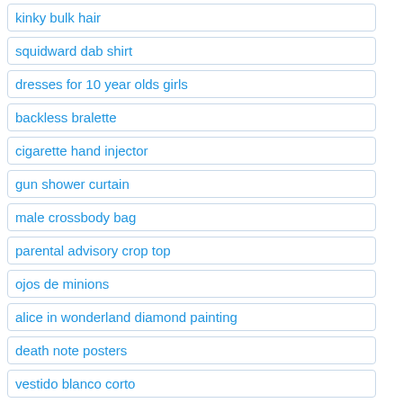kinky bulk hair
squidward dab shirt
dresses for 10 year olds girls
backless bralette
cigarette hand injector
gun shower curtain
male crossbody bag
parental advisory crop top
ojos de minions
alice in wonderland diamond painting
death note posters
vestido blanco corto